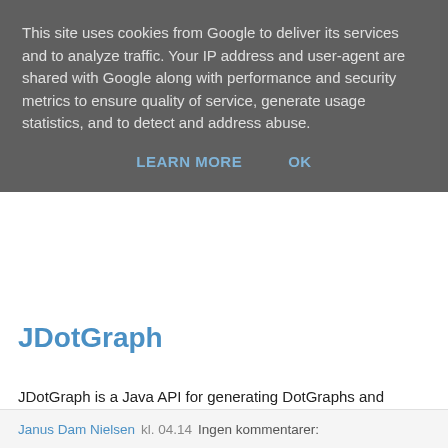This site uses cookies from Google to deliver its services and to analyze traffic. Your IP address and user-agent are shared with Google along with performance and security metrics to ensure quality of service, generate usage statistics, and to detect and address abuse.
LEARN MORE   OK
JDotGraph
JDotGraph is a Java API for generating DotGraphs and Graphs in general, especially useful for visualizing control flow graphs :) More info to follow at a later time... e.g. when I get more time... For now the JavaDoc is available at http://www.daimi.au.dk/~fagidiot/JDotGraph/doc/ and a jar contaning the API is available at http://www.daimi.au.dk/~fagidiot/JDotGraph/JDotGraph.jar. It is beta and released under BSD license. See my later post on version 0.2 of JDotGraph.
Janus Dam Nielsen kl. 04.14   Ingen kommentarer: